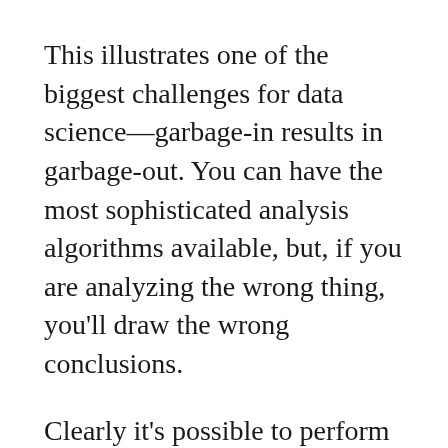This illustrates one of the biggest challenges for data science—garbage-in results in garbage-out. You can have the most sophisticated analysis algorithms available, but, if you are analyzing the wrong thing, you'll draw the wrong conclusions.
Clearly it's possible to perform statistical checks on the data—as the 2012 study illustrates. However, knowing that the data is wrong does little more than render it worthless. It could have, and should have been checked before use.